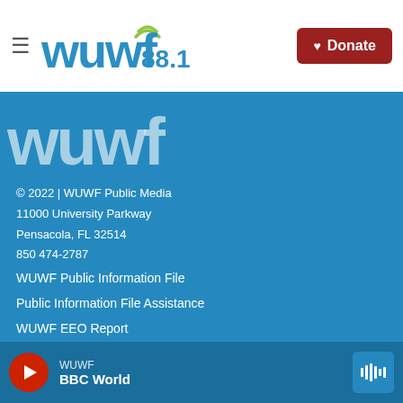WUWF 88.1 — Donate
[Figure (logo): WUWF text logo in white on blue background, large watermark style]
© 2022 | WUWF Public Media
11000 University Parkway
Pensacola, FL 32514
850 474-2787
WUWF Public Information File
Public Information File Assistance
WUWF EEO Report
About Us
WUWF — BBC World